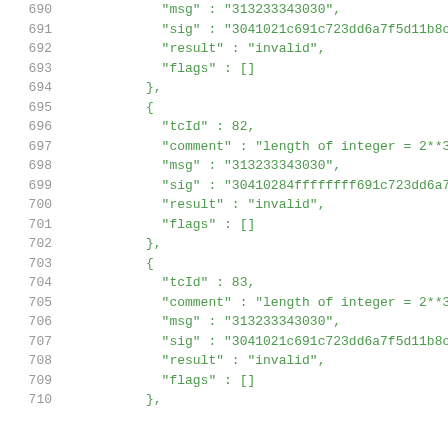690   "msg" : "313233343030",
691   "sig" : "3041021c691c723dd6a7f5d11b8c
692   "result" : "invalid",
693   "flags" : []
694   },
695   {
696   "tcId" : 82,
697   "comment" : "length of integer = 2**3
698   "msg" : "313233343030",
699   "sig" : "30410284ffffffff691c723dd6a7
700   "result" : "invalid",
701   "flags" : []
702   },
703   {
704   "tcId" : 83,
705   "comment" : "length of integer = 2**3
706   "msg" : "313233343030",
707   "sig" : "3041021c691c723dd6a7f5d11b8c
708   "result" : "invalid",
709   "flags" : []
710   },